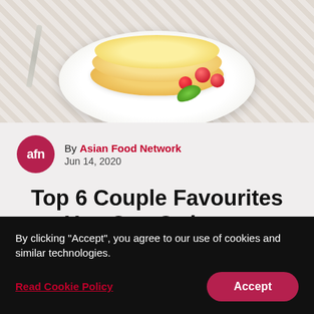[Figure (photo): Food photo showing fluffy pancakes on a white plate with raspberries and a green mint leaf, on a textured tablecloth background with a spoon visible]
By Asian Food Network
Jun 14, 2020
Top 6 Couple Favourites You Can Order on foodpanda in Hong Kong
By clicking "Accept", you agree to our use of cookies and similar technologies.
Read Cookie Policy
Accept